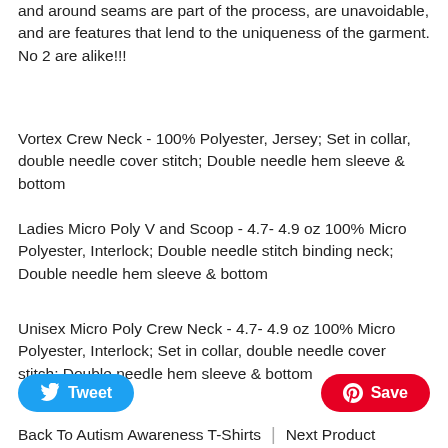and around seams are part of the process, are unavoidable, and are features that lend to the uniqueness of the garment. No 2 are alike!!!
Vortex Crew Neck - 100% Polyester, Jersey; Set in collar, double needle cover stitch; Double needle hem sleeve & bottom
Ladies Micro Poly V and Scoop - 4.7- 4.9 oz 100% Micro Polyester, Interlock; Double needle stitch binding neck; Double needle hem sleeve & bottom
Unisex Micro Poly Crew Neck - 4.7- 4.9 oz 100% Micro Polyester, Interlock; Set in collar, double needle cover stitch; Double needle hem sleeve & bottom
[Figure (other): Tweet button (blue rounded rectangle with bird icon) and Save button (red rounded rectangle with Pinterest icon)]
Back To Autism Awareness T-Shirts | Next Product